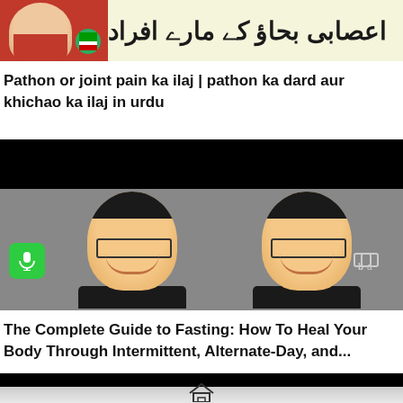[Figure (screenshot): Banner image with a woman in red dress on the left, a green circle with flag design, and Urdu text on the right against a light yellow background]
Pathon or joint pain ka ilaj | pathon ka dard aur khichao ka ilaj in urdu
[Figure (screenshot): Video thumbnail showing two identical photos of an Asian man with glasses and suit smiling, with a green microphone icon on the left and a logo on the right, against a dark/gray background]
The Complete Guide to Fasting: How To Heal Your Body Through Intermittent, Alternate-Day, and...
[Figure (screenshot): Bottom portion of another video thumbnail showing a black top bar and a light gray area with a Big Family logo (house outline and text)]